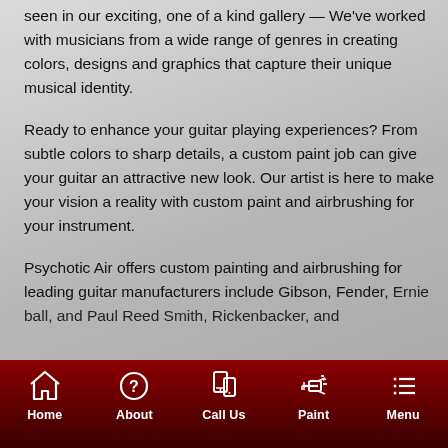seen in our exciting, one of a kind gallery - We've worked with musicians from a wide range of genres in creating colors, designs and graphics that capture their unique musical identity.
Ready to enhance your guitar playing experiences? From subtle colors to sharp details, a custom paint job can give your guitar an attractive new look. Our artist is here to make your vision a reality with custom paint and airbrushing for your instrument.
Psychotic Air offers custom painting and airbrushing for leading guitar manufacturers include Gibson, Fender, Ernie ball, and Paul Reed Smith, Rickenbacker, and...
[Figure (screenshot): Mobile app navigation bar with icons for Home, About, Call Us, Paint, and Menu on a dark red gradient background]